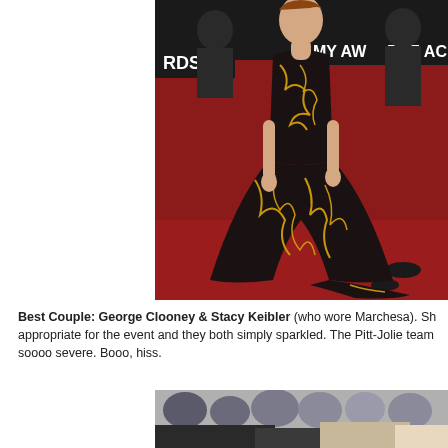[Figure (photo): Woman in a black and gold strapless gown with floral embroidery standing on a red carpet at an awards show. Signage in background reads 'RDS', 'MY AWA', 'THE AC'.]
Best Couple: George Clooney & Stacy Keibler (who wore Marchesa). She appropriate for the event and they both simply sparkled. The Pitt-Jolie team soooo severe. Booo, hiss.
[Figure (photo): Partial photo of a couple at an awards event, crowd visible in background.]